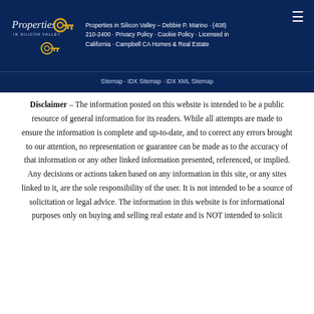Properties in Silicon Valley – Debbie P. Marino · (408) 210-2400 · Privacy Policy · Cookie Policy · Licensed in California · Campbell CA Homes & Real Estate · Sitemap · IDX Sitemap · IDX XML Sitemap
Disclaimer – The information posted on this website is intended to be a public resource of general information for its readers. While all attempts are made to ensure the information is complete and up-to-date, and to correct any errors brought to our attention, no representation or guarantee can be made as to the accuracy of that information or any other linked information presented, referenced, or implied. Any decisions or actions taken based on any information in this site, or any sites linked to it, are the sole responsibility of the user. It is not intended to be a source of solicitation or legal advice. The information in this website is for informational purposes only on buying and selling real estate and is NOT intended to solicit